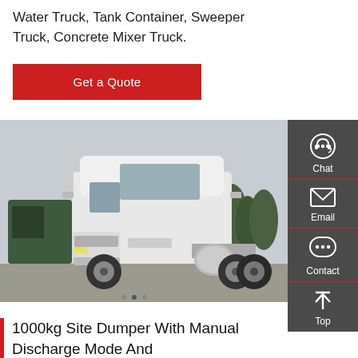Water Truck, Tank Container, Sweeper Truck, Concrete Mixer Truck.
Get a Quote
[Figure (photo): White HOWO tractor truck parked in a lot, with other green trucks and trees visible in the background.]
1000kg Site Dumper With Manual Discharge Mode And